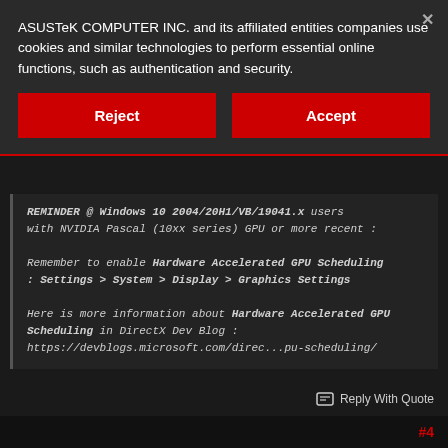ASUSTeK COMPUTER INC. and its affiliated entities companies use cookies and similar technologies to perform essential online functions, such as authentication and security.
Reject
Accept
REMINDER @ Windows 10 2004/20H1/VB/19041.x users with NVIDIA Pascal (10xx series) GPU or more recent :

Remember to enable Hardware Accelerated GPU Scheduling : Settings > System > Display > Graphics Settings

Here is more information about Hardware Accelerated GPU Scheduling in DirectX Dev Blog : https://devblogs.microsoft.com/direc...pu-scheduling/
why isn't it enabled by default for supported and capable enough video cards?
Reply With Quote
#4